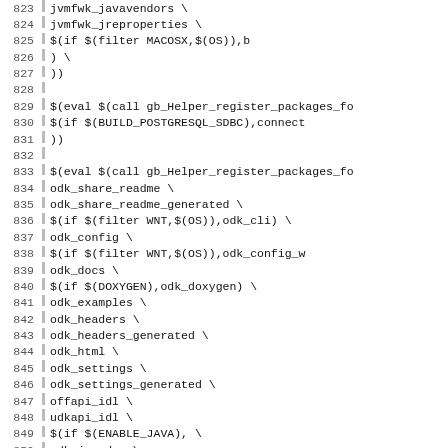Code listing lines 823-852 of a Makefile showing package registration macros and lists including jvmfwk, odk, and other build system variables.